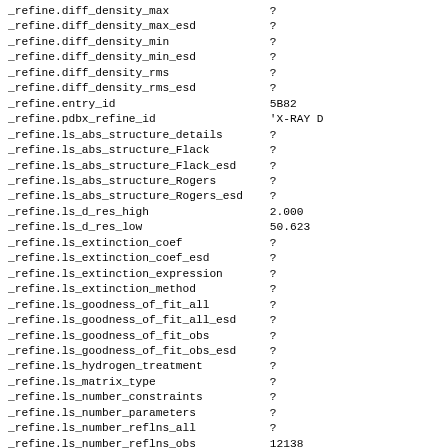_refine.diff_density_max
_refine.diff_density_max_esd
_refine.diff_density_min
_refine.diff_density_min_esd
_refine.diff_density_rms
_refine.diff_density_rms_esd
_refine.entry_id
_refine.pdbx_refine_id
_refine.ls_abs_structure_details
_refine.ls_abs_structure_Flack
_refine.ls_abs_structure_Flack_esd
_refine.ls_abs_structure_Rogers
_refine.ls_abs_structure_Rogers_esd
_refine.ls_d_res_high
_refine.ls_d_res_low
_refine.ls_extinction_coef
_refine.ls_extinction_coef_esd
_refine.ls_extinction_expression
_refine.ls_extinction_method
_refine.ls_goodness_of_fit_all
_refine.ls_goodness_of_fit_all_esd
_refine.ls_goodness_of_fit_obs
_refine.ls_goodness_of_fit_obs_esd
_refine.ls_hydrogen_treatment
_refine.ls_matrix_type
_refine.ls_number_constraints
_refine.ls_number_parameters
_refine.ls_number_reflns_all
_refine.ls_number_reflns_obs
_refine.ls_number_reflns_R_free
_refine.ls_number_reflns_R_work